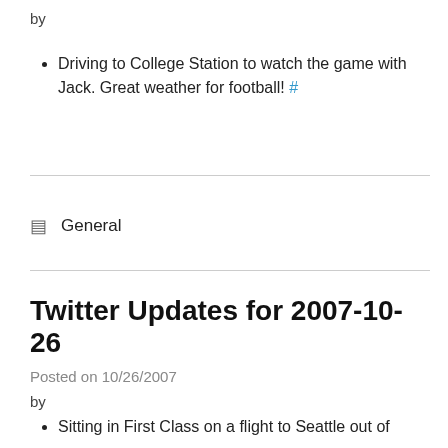by
Driving to College Station to watch the game with Jack. Great weather for football! #
General
Twitter Updates for 2007-10-26
Posted on 10/26/2007
by
Sitting in First Class on a flight to Seattle out of